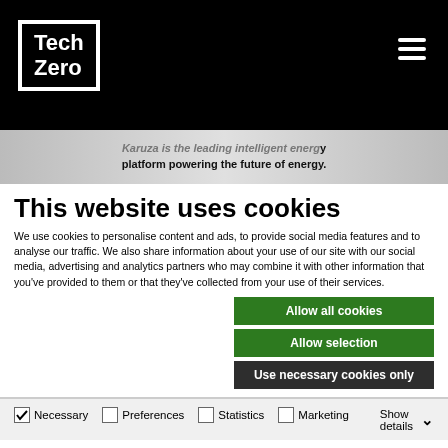[Figure (logo): TechZero logo: white text 'Tech Zero' in a white bordered box on black background, with hamburger menu icon top right]
Karuza is the leading intelligent energy platform powering the future of energy.
This website uses cookies
We use cookies to personalise content and ads, to provide social media features and to analyse our traffic. We also share information about your use of our site with our social media, advertising and analytics partners who may combine it with other information that you've provided to them or that they've collected from your use of their services.
Allow all cookies
Allow selection
Use necessary cookies only
Necessary  Preferences  Statistics  Marketing  Show details